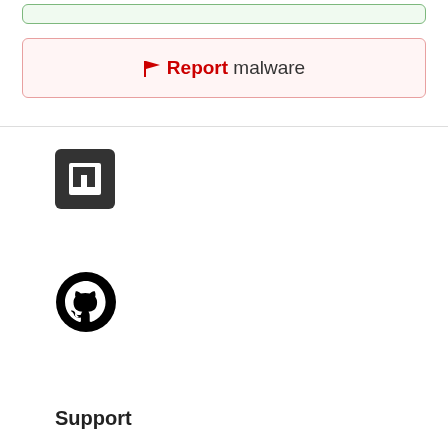[Figure (other): Green bordered box (partial, top of page)]
🚩Report malware
[Figure (logo): npm logo - dark square with 'n' lettermark]
[Figure (logo): GitHub logo - black octocat circle icon]
Support